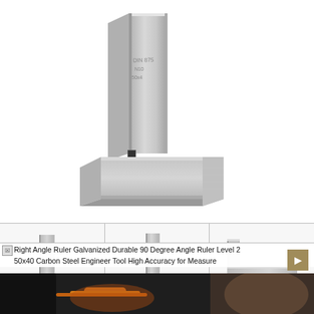[Figure (photo): Main product photo of a steel 90-degree right angle ruler / engineer square, shown in L-shape from top-right angle. The tool has a DIN 875 N10 marking on the blade. Silver/gray metallic finish on white background.]
[Figure (photo): Three thumbnail photos of the same right angle ruler product shown from different angles: left thumbnail shows front view, middle shows slightly rotated view, right thumbnail shows the base with two mounting holes visible.]
Right Angle Ruler Galvanized Durable 90 Degree Angle Ruler Level 2 50x40 Carbon Steel Engineer Tool High Accuracy for Measure
[Figure (photo): Bottom strip showing a blurred background photo of a person's hand with an orange pencil or tool, partially visible.]